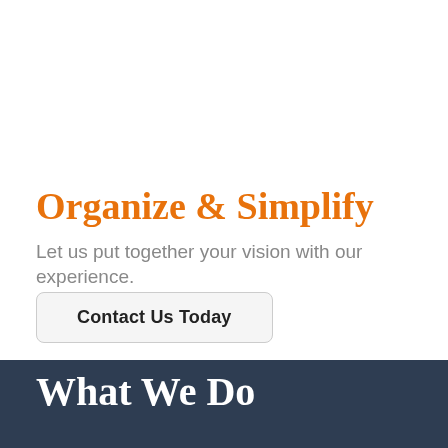Organize & Simplify
Let us put together your vision with our experience.
Contact Us Today
What We Do